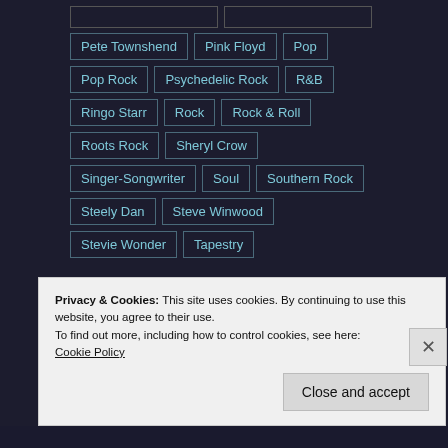Pete Townshend
Pink Floyd
Pop
Pop Rock
Psychedelic Rock
R&B
Ringo Starr
Rock
Rock & Roll
Roots Rock
Sheryl Crow
Singer-Songwriter
Soul
Southern Rock
Steely Dan
Steve Winwood
Stevie Wonder
Tapestry
Privacy & Cookies: This site uses cookies. By continuing to use this website, you agree to their use.
To find out more, including how to control cookies, see here:
Cookie Policy
Close and accept